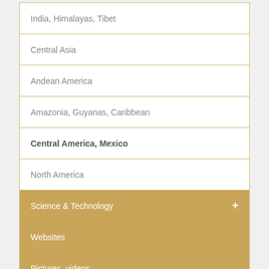India, Himalayas, Tibet
Central Asia
Andean America
Amazonia, Guyanas, Caribbean
Central America, Mexico
North America
Science & Technology
Websites
Pictures, videos, ...
Museums, libraries